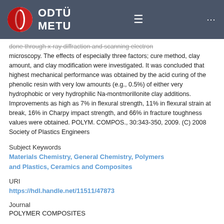[Figure (logo): ODTÜ METU university logo with red and white circular emblem on dark gray navigation bar]
done through x-ray diffraction and scanning electron microscopy. The effects of especially three factors; cure method, clay amount, and clay modification were investigated. It was concluded that highest mechanical performance was obtained by the acid curing of the phenolic resin with very low amounts (e.g., 0.5%) of either very hydrophobic or very hydrophilic Na-montmorillonite clay additions. Improvements as high as 7% in flexural strength, 11% in flexural strain at break, 16% in Charpy impact strength, and 66% in fracture toughness values were obtained. POLYM. COMPOS., 30:343-350, 2009. (C) 2008 Society of Plastics Engineers
Subject Keywords
Materials Chemistry, General Chemistry, Polymers and Plastics, Ceramics and Composites
URI
https://hdl.handle.net/11511/47873
Journal
POLYMER COMPOSITES